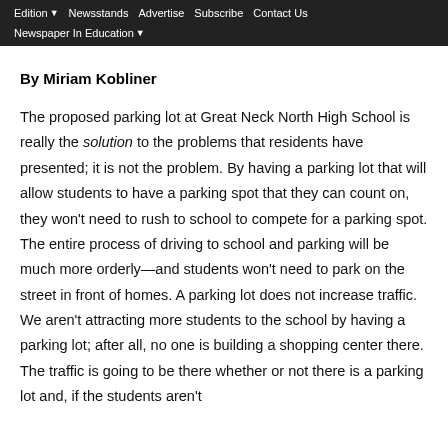Edition | Newsstands | Advertise | Subscribe | Contact Us | Newspaper In Education
By Miriam Kobliner
The proposed parking lot at Great Neck North High School is really the solution to the problems that residents have presented; it is not the problem. By having a parking lot that will allow students to have a parking spot that they can count on, they won't need to rush to school to compete for a parking spot. The entire process of driving to school and parking will be much more orderly—and students won't need to park on the street in front of homes. A parking lot does not increase traffic. We aren't attracting more students to the school by having a parking lot; after all, no one is building a shopping center there. The traffic is going to be there whether or not there is a parking lot and, if the students aren't